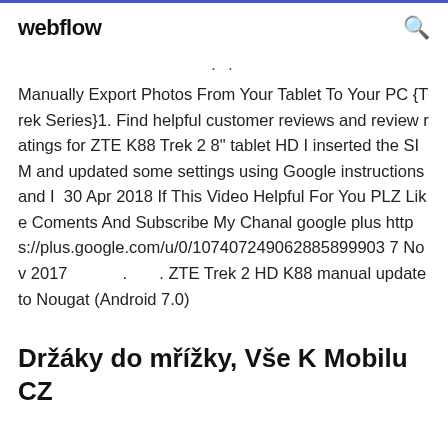webflow
Manually Export Photos From Your Tablet To Your PC {Trek Series}1. Find helpful customer reviews and review ratings for ZTE K88 Trek 2 8" tablet HD I inserted the SIM and updated some settings using Google instructions and I 30 Apr 2018 If This Video Helpful For You PLZ Like Coments And Subscribe My Chanal google plus https://plus.google.com/u/0/107407249062885899903 7 Nov 2017 . . ZTE Trek 2 HD K88 manual update to Nougat (Android 7.0)
Držáky do mřížky, Vše K Mobilu CZ